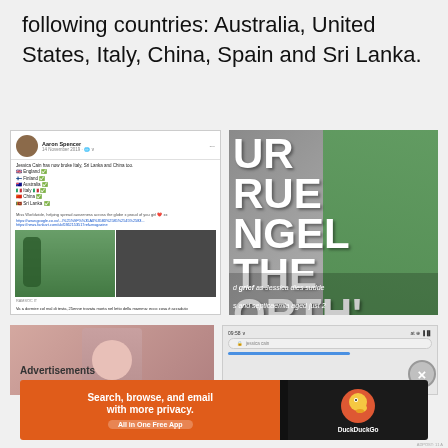following countries: Australia, United States, Italy, China, Spain and Sri Lanka.
[Figure (screenshot): Facebook post by Aaron Spencer about Jessica Cain breaking news in Italy, Sri Lanka and China, with photos of a young woman in green outfit and taking a mirror selfie. Translated Italian caption below: 'Va a dormire col mal di testa, 25enne trovata morta nel letto dalla mamma: ecco cosa è accaduto']
[Figure (photo): Newspaper front page showing large bold text 'UR RUE NGEL THE ORTH'' (partial, cropped) and text 'd grief as Jessica dies sudde s and septicaemia aged just 2'. Woman in green silk outfit visible on right.]
[Figure (photo): Partial close-up photo of a woman's face (cropped)]
[Figure (screenshot): Mobile phone screenshot showing browser with jessica cain search at 09:58]
Advertisements
[Figure (other): DuckDuckGo advertisement banner: 'Search, browse, and email with more privacy. All in One Free App' with DuckDuckGo logo]